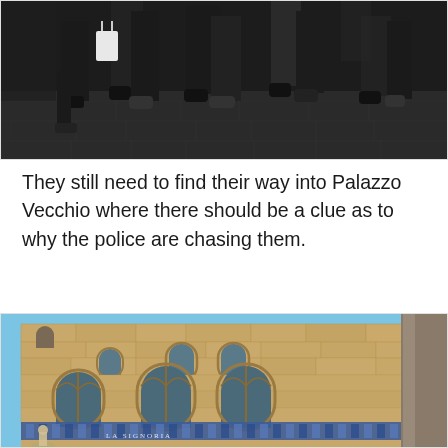[Figure (photo): Photo showing people's legs and feet on a cobblestone street, dark clothing, shot from below waist level.]
They still need to find their way into Palazzo Vecchio where there should be a clue as to why the police are chasing them.
[Figure (photo): Photo of Palazzo Vecchio building exterior with stone facade, arched windows, and blue sky visible, with a column on the right side.]